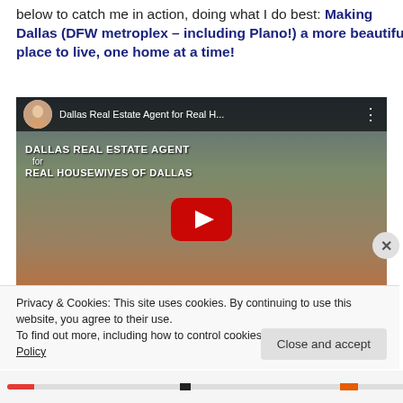below to catch me in action, doing what I do best: Making Dallas (DFW metroplex – including Plano!) a more beautiful place to live, one home at a time!
[Figure (screenshot): YouTube video thumbnail showing a woman in a red dress in a kitchen with text overlay: 'DALLAS REAL ESTATE AGENT for REAL HOUSEWIVES OF DALLAS'. Video title: 'Dallas Real Estate Agent for Real H...'. A red play button is shown in the center.]
Privacy & Cookies: This site uses cookies. By continuing to use this website, you agree to their use.
To find out more, including how to control cookies, see here: Cookie Policy
Close and accept